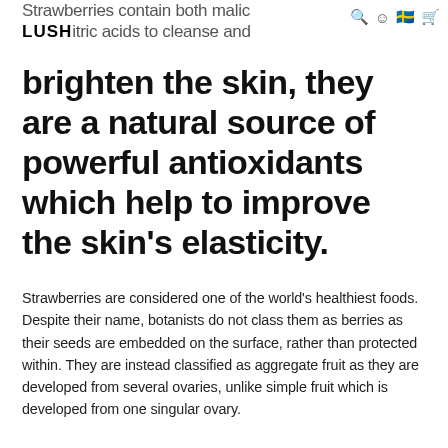Strawberries contain both malic and citric acids to cleanse and
brighten the skin, they are a natural source of powerful antioxidants which help to improve the skin’s elasticity.
Strawberries are considered one of the world's healthiest foods. Despite their name, botanists do not class them as berries as their seeds are embedded on the surface, rather than protected within. They are instead classified as aggregate fruit as they are developed from several ovaries, unlike simple fruit which is developed from one singular ovary.